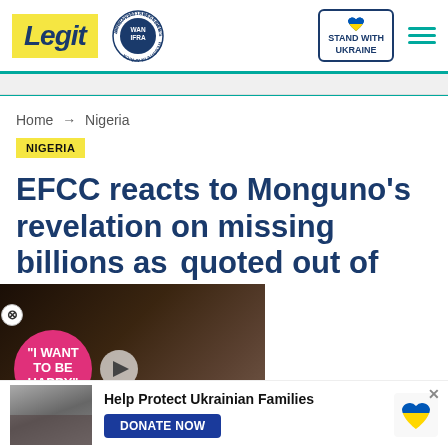[Figure (logo): Legit.ng website header with Legit logo, WAN-IFRA 2021 Best News Website in Africa badge, Stand With Ukraine button, and hamburger menu]
Home → Nigeria
NIGERIA
EFCC reacts to Monguno's revelation on missing billions as quoted out of
[Figure (screenshot): Video player overlay showing two people, pink badge reading I WANT TO BE HAPPY, play button, red chevron down button]
[Figure (infographic): Bottom ad bar: Help Protect Ukrainian Families with DONATE NOW button and Ukraine heart logo]